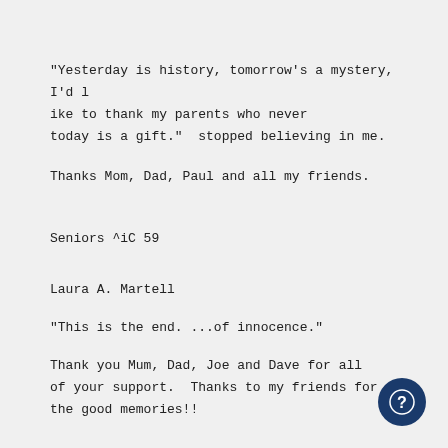"Yesterday is history, tomorrow's a mystery, I'd like to thank my parents who never today is a gift." stopped believing in me.
Thanks Mom, Dad, Paul and all my friends.
Seniors ^iC 59
Laura A. Martell
"This is the end. ...of innocence."
Thank you Mum, Dad, Joe and Dave for all of your support. Thanks to my friends for the good memories!!